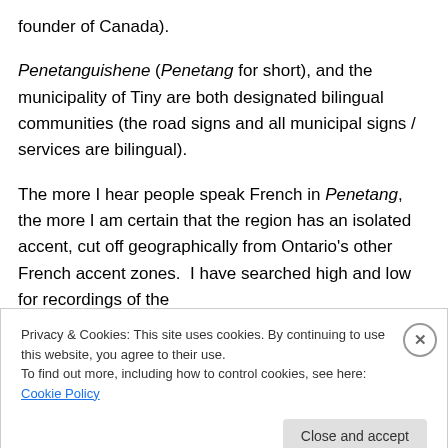founder of Canada).
Penetanguishene (Penetang for short), and the municipality of Tiny are both designated bilingual communities (the road signs and all municipal signs / services are bilingual).
The more I hear people speak French in Penetang, the more I am certain that the region has an isolated accent, cut off geographically from Ontario's other French accent zones.  I have searched high and low for recordings of the
Privacy & Cookies: This site uses cookies. By continuing to use this website, you agree to their use.
To find out more, including how to control cookies, see here: Cookie Policy
Close and accept